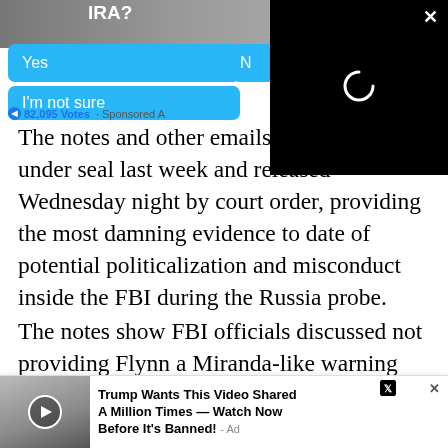[Figure (screenshot): Partial screenshot of a Facebook-style poll widget with buttons 'Yes' and 'I'm not sure' in blue, and '82,095 Votes · Sponsored A...' at the bottom. Partially overlaid by a black video player box with an X close button and a loading spinner.]
The notes and other emails were [partially obscured] lawyers under seal last week and released Wednesday night by court order, providing the most damning evidence to date of potential politicalization and misconduct inside the FBI during the Russia probe.
The notes show FBI officials discussed not providing Flynn a Miranda-like warning before his January 2017 interview — a practice normally followed in such interview[s that would not constitute a c]rime if
[Figure (screenshot): Bottom ad overlay: thumbnail image of Melania and Trump with a play button, text reads 'Trump Wants This Video Shared A Million Times — Watch Now Before It's Banned! - Ad' with an X close button.]